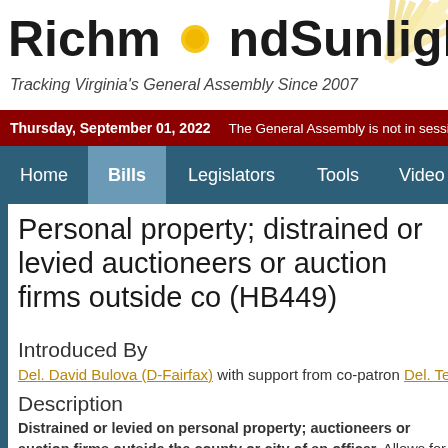Richmond Sunlight — Tracking Virginia's General Assembly Since 2007
Thursday, September 01, 2022   The General Assembly is not in session.
Home   Bills   Legislators   Tools   Video   Schedule
Personal property; distrained or levied auctioneers or auction firms outside co (HB449)
Introduced By
Del. David Bulova (D-Fairfax) with support from co-patron Del. Terr
Description
Distrained or levied on personal property; auctioneers or auction firms outside the county or city of an officer. Allows for the use of Virginia-licensed auctioneer or auction firm in selling distrained or